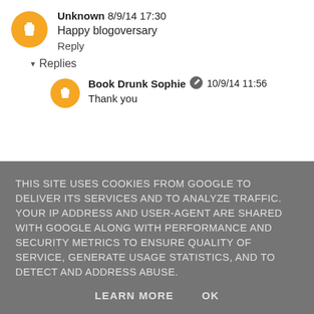Unknown 8/9/14 17:30
Happy blogoversary
Reply
Replies
Book Drunk Sophie 10/9/14 11:56
Thank you
THIS SITE USES COOKIES FROM GOOGLE TO DELIVER ITS SERVICES AND TO ANALYZE TRAFFIC. YOUR IP ADDRESS AND USER-AGENT ARE SHARED WITH GOOGLE ALONG WITH PERFORMANCE AND SECURITY METRICS TO ENSURE QUALITY OF SERVICE, GENERATE USAGE STATISTICS, AND TO DETECT AND ADDRESS ABUSE.
LEARN MORE  OK